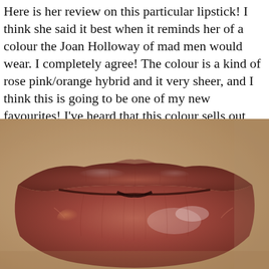Here is her review on this particular lipstick! I think she said it best when it reminds her of a colour the Joan Holloway of mad men would wear. I completely agree! The colour is a kind of rose pink/orange hybrid and it very sheer, and I think this is going to be one of my new favourites! I've heard that this colour sells out quite often so I am really excited to add it to my collection!
[Figure (photo): Close-up photograph of lips wearing a rose pink/orange sheer lipstick, showing detailed lip texture and a subtle sheen.]